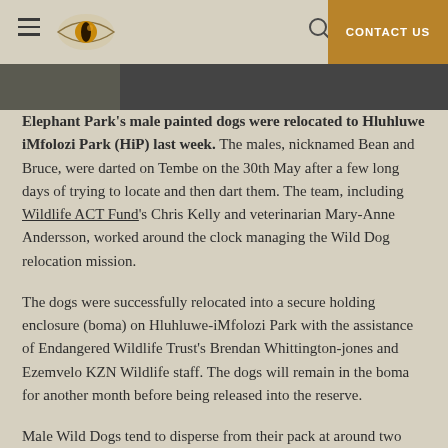CONTACT US
[Figure (photo): Partial wildlife/nature photo strip at top of article page]
Elephant Park's male painted dogs were relocated to Hluhluwe iMfolozi Park (HiP) last week. The males, nicknamed Bean and Bruce, were darted on Tembe on the 30th May after a few long days of trying to locate and then dart them. The team, including Wildlife ACT Fund's Chris Kelly and veterinarian Mary-Anne Andersson, worked around the clock managing the Wild Dog relocation mission.
The dogs were successfully relocated into a secure holding enclosure (boma) on Hluhluwe-iMfolozi Park with the assistance of Endangered Wildlife Trust's Brendan Whittington-jones and Ezemvelo KZN Wildlife staff. The dogs will remain in the boma for another month before being released into the reserve.
Male Wild Dogs tend to disperse from their pack at around two years of age. The males we were relocating